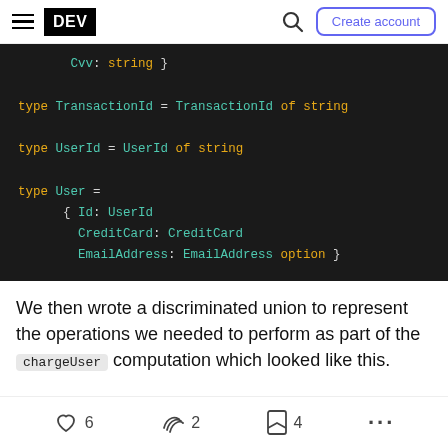DEV — Create account
[Figure (screenshot): Dark code block showing F# type definitions: Cvv: string }, type TransactionId = TransactionId of string, type UserId = UserId of string, type User = { Id: UserId CreditCard: CreditCard EmailAddress: EmailAddress option }]
We then wrote a discriminated union to represent the operations we needed to perform as part of the chargeUser computation which looked like this.
6 likes, 2 unicorns, 4 bookmarks